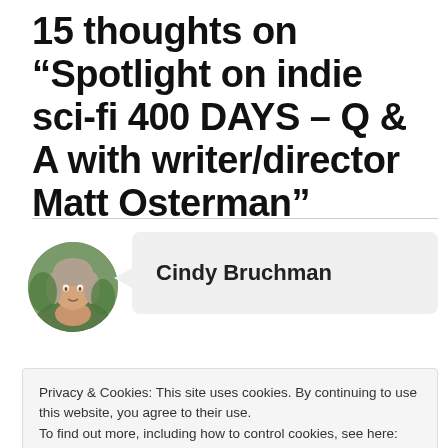15 thoughts on “Spotlight on indie sci-fi 400 DAYS – Q & A with writer/director Matt Osterman”
[Figure (photo): Circular avatar photo of Cindy Bruchman, a woman with short blonde/gray hair]
Cindy Bruchman
Privacy & Cookies: This site uses cookies. By continuing to use this website, you agree to their use.
To find out more, including how to control cookies, see here: Cookie Policy
Close and accept
world is a brave frontier